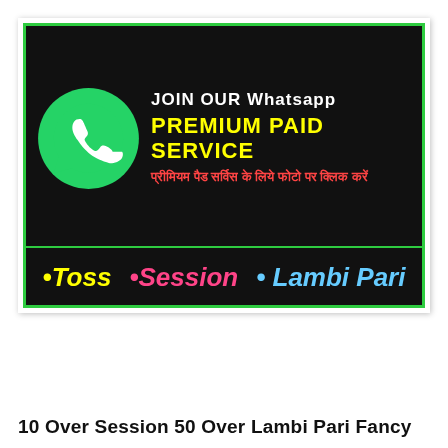[Figure (infographic): WhatsApp Premium Paid Service advertisement banner with green WhatsApp logo, yellow 'PREMIUM PAID SERVICE' text, Hindi subtitle, and three betting categories: Toss (yellow), Session (pink), Lambi Pari (blue) on black background with green border.]
10 Over Session 50 Over Lambi Pari Fancy